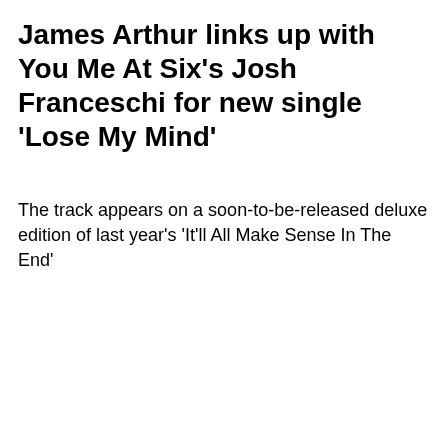James Arthur links up with You Me At Six's Josh Franceschi for new single 'Lose My Mind'
The track appears on a soon-to-be-released deluxe edition of last year's 'It'll All Make Sense In The End'